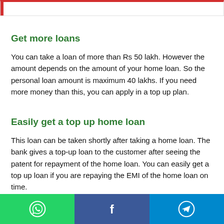Get more loans
You can take a loan of more than Rs 50 lakh. However the amount depends on the amount of your home loan. So the personal loan amount is maximum 40 lakhs. If you need more money than this, you can apply in a top up plan.
Easily get a top up home loan
This loan can be taken shortly after taking a home loan. The bank gives a top-up loan to the customer after seeing the patent for repayment of the home loan. You can easily get a top up loan if you are repaying the EMI of the home loan on time.